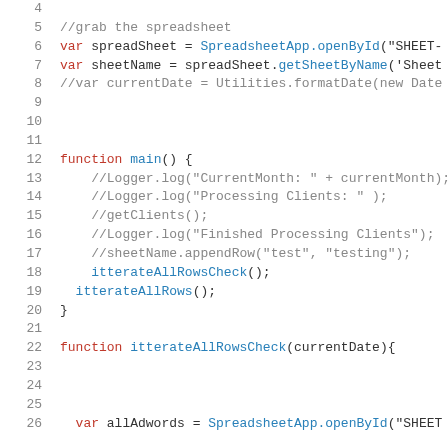[Figure (screenshot): Code editor screenshot showing JavaScript/Google Apps Script code with line numbers 4-26. Lines include variable declarations, commented-out code, function definitions for main() and itterateAllRowsCheck(), and calls to itterateAllRowsCheck() and itterateAllRows().]